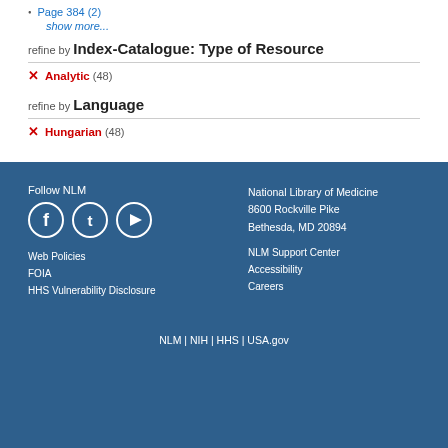Page 384 (2)
show more...
refine by Index-Catalogue: Type of Resource
× Analytic (48)
refine by Language
× Hungarian (48)
Follow NLM | National Library of Medicine 8600 Rockville Pike Bethesda, MD 20894 | Web Policies | FOIA | HHS Vulnerability Disclosure | NLM Support Center | Accessibility | Careers | NLM | NIH | HHS | USA.gov